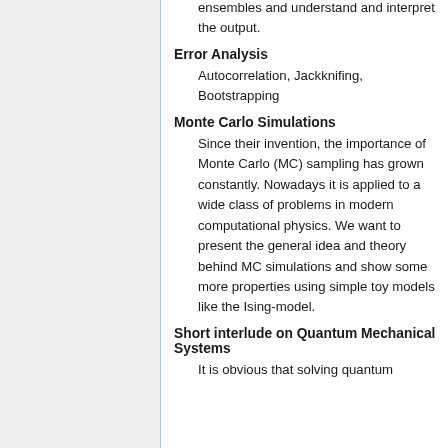ensembles and understand and interpret the output.
Error Analysis
Autocorrelation, Jackknifing, Bootstrapping
Monte Carlo Simulations
Since their invention, the importance of Monte Carlo (MC) sampling has grown constantly. Nowadays it is applied to a wide class of problems in modern computational physics. We want to present the general idea and theory behind MC simulations and show some more properties using simple toy models like the Ising-model.
Short interlude on Quantum Mechanical Systems
It is obvious that solving quantum mechanical systems relativistically is